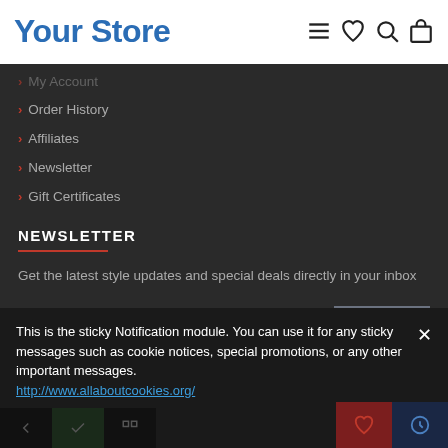Your Store
> My Account
> Order History
> Affiliates
> Newsletter
> Gift Certificates
NEWSLETTER
Get the latest style updates and special deals directly in your inbox
Your email
SEND
This is the sticky Notification module. You can use it for any sticky messages such as cookie notices, special promotions, or any other important messages.
http://www.allaboutcookies.org/